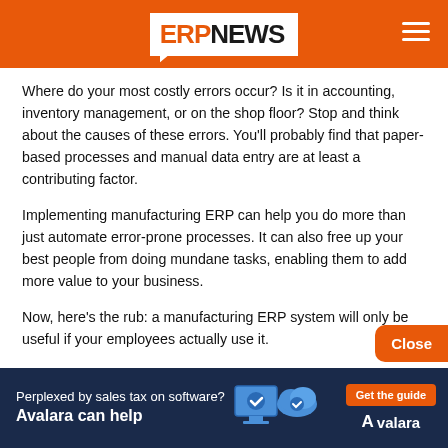ERP NEWS
Where do your most costly errors occur? Is it in accounting, inventory management, or on the shop floor? Stop and think about the causes of these errors. You'll probably find that paper-based processes and manual data entry are at least a contributing factor.
Implementing manufacturing ERP can help you do more than just automate error-prone processes. It can also free up your best people from doing mundane tasks, enabling them to add more value to your business.
Now, here's the rub: a manufacturing ERP system will only be useful if your employees actually use it.
They'll be much more likely to use it if they can access it through any browser. And nowadays, employees expect to be able to get their jobs done even when they're on a commuter train, at home with the flu, or waiting in line for movie tickets on Friday night. That's why you should consider implementing a cloud manufacturing ERP system as the
Perplexed by sales tax on software? Avalara can help  Get the guide  Avalara